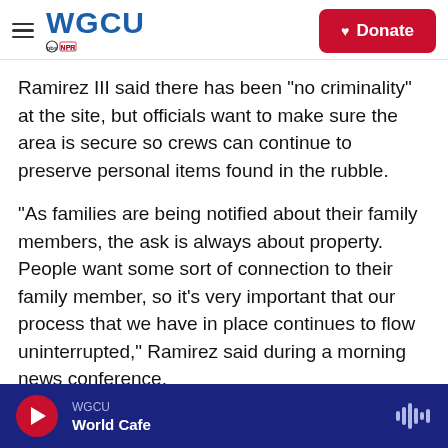WGCU PBS NPR | Donate
Ramirez III said there has been "no criminality" at the site, but officials want to make sure the area is secure so crews can continue to preserve personal items found in the rubble.
"As families are being notified about their family members, the ask is always about property. People want some sort of connection to their family member, so it's very important that our process that we have in place continues to flow uninterrupted," Ramirez said during a morning news conference.
"It's just part of the process. This is a long, painful,
WGCU | World Cafe